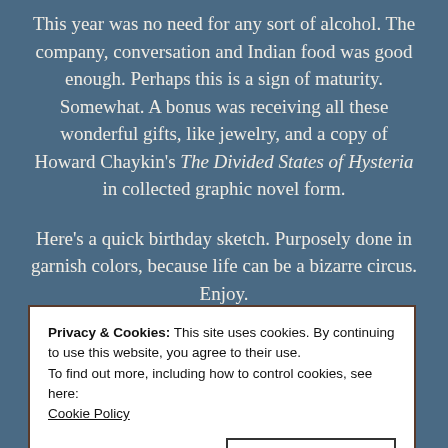This year was no need for any sort of alcohol. The company, conversation and Indian food was good enough. Perhaps this is a sign of maturity. Somewhat. A bonus was receiving all these wonderful gifts, like jewelry, and a copy of Howard Chaykin's The Divided States of Hysteria in collected graphic novel form.

Here's a quick birthday sketch. Purposely done in garnish colors, because life can be a bizarre circus. Enjoy.
Privacy & Cookies: This site uses cookies. By continuing to use this website, you agree to their use.
To find out more, including how to control cookies, see here: Cookie Policy